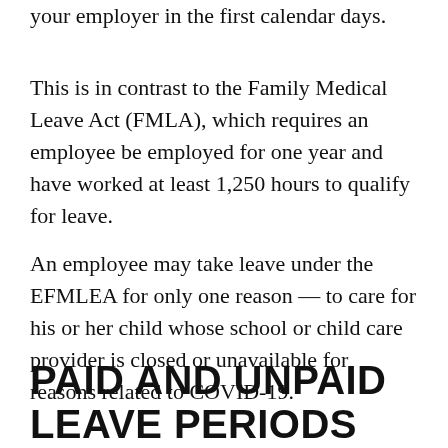your employer in the first calendar days.
This is in contrast to the Family Medical Leave Act (FMLA), which requires an employee be employed for one year and have worked at least 1,250 hours to qualify for leave.
An employee may take leave under the EFMLEA for only one reason — to care for his or her child whose school or child care provider is closed or unavailable for reasons related to COVID-19.
PAID AND UNPAID LEAVE PERIODS UNDER